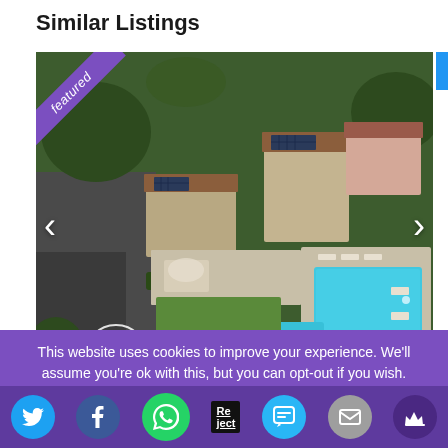Similar Listings
[Figure (photo): Aerial drone photograph of a Mediterranean-style property showing two stone buildings with solar panels on terracotta-tiled roofs, a large swimming pool, smaller plunge pool, paved terraces with sun loungers, pergola with outdoor seating, manicured hedgerows, and surrounding greenery. A 'featured' ribbon appears in the top-left corner. Navigation arrows (< >) are visible on left and right sides.]
This website uses cookies to improve your experience. We'll assume you're ok with this, but you can opt-out if you wish.